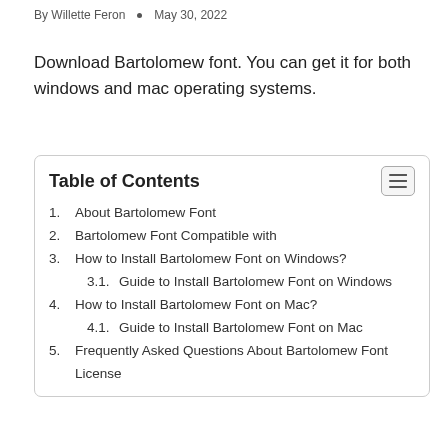By Willette Feron • May 30, 2022
Download Bartolomew font. You can get it for both windows and mac operating systems.
Table of Contents
1. About Bartolomew Font
2. Bartolomew Font Compatible with
3. How to Install Bartolomew Font on Windows?
3.1. Guide to Install Bartolomew Font on Windows
4. How to Install Bartolomew Font on Mac?
4.1. Guide to Install Bartolomew Font on Mac
5. Frequently Asked Questions About Bartolomew Font License